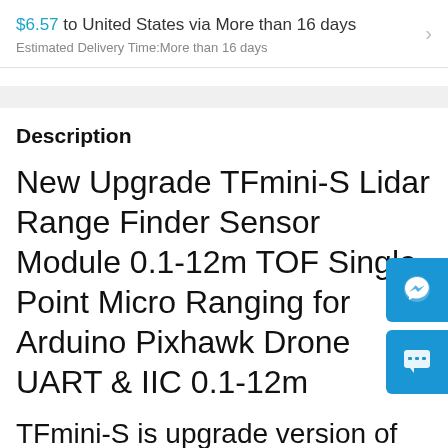$6.57 to United States via More than 16 days
Estimated Delivery Time:More than 16 days
Description
New Upgrade TFmini-S Lidar Range Finder Sensor Module 0.1-12m TOF Single Point Micro Ranging for Arduino Pixhawk Drone UART & IIC 0.1-12m
TFmini-S is upgrade version of TFmini. Compare with TFmini,TFmini-S has these advantages :
①.The blind zone of it is reduced from 30cm to 10cm .
② Interface supports UART and I2C.